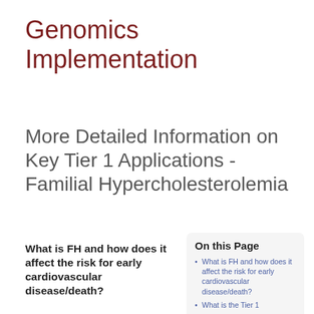Genomics Implementation
More Detailed Information on Key Tier 1 Applications - Familial Hypercholesterolemia
What is FH and how does it affect the risk for early cardiovascular disease/death?
On this Page
What is FH and how does it affect the risk for early cardiovascular disease/death?
What is the Tier 1